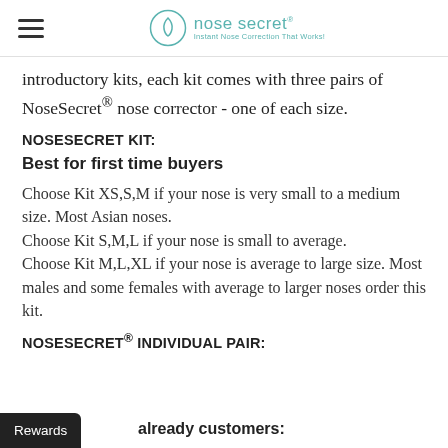nose secret – Instant Nose Correction That Works!
introductory kits, each kit comes with three pairs of NoseSecret® nose corrector - one of each size.
NOSESECRET KIT:
Best for first time buyers
Choose Kit XS,S,M if your nose is very small to a medium size. Most Asian noses.
Choose Kit S,M,L if your nose is small to average.
Choose Kit M,L,XL if your nose is average to large size. Most males and some females with average to larger noses order this kit.
NOSESECRET® INDIVIDUAL PAIR:
Rewards already customers: